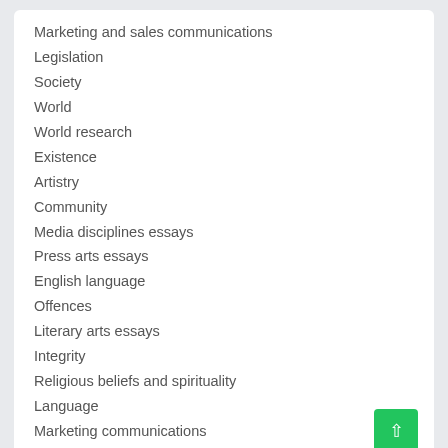Marketing and sales communications
Legislation
Society
World
World research
Existence
Artistry
Community
Media disciplines essays
Press arts essays
English language
Offences
Literary arts essays
Integrity
Religious beliefs and spirituality
Language
Marketing communications
Search ...
Essay Samples